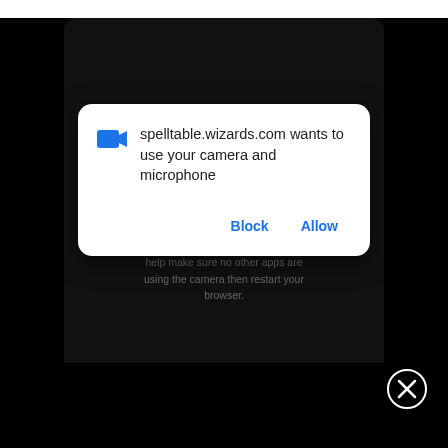[Figure (screenshot): Mobile phone screenshot showing a browser permission dialog from spelltable.wizards.com requesting access to camera and microphone, with Block and Allow buttons. Behind the dialog is the Spelltable website with logo 'SPELLTABLE POWERED BY MAGIC' on a dark background. A close (X) button is visible at the bottom right.]